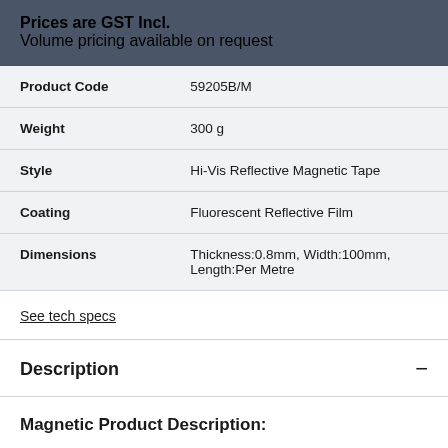Prices are GST Incl.
Volume pricing available on request
|  |  |
| --- | --- |
| Product Code | 59205B/M |
| Weight | 300 g |
| Style | Hi-Vis Reflective Magnetic Tape |
| Coating | Fluorescent Reflective Film |
| Dimensions | Thickness:0.8mm, Width:100mm, Length:Per Metre |
See tech specs
Description
Magnetic Product Description:
This Reflective Magnetic Tape is 100mm wide, 0.8mm thick and is